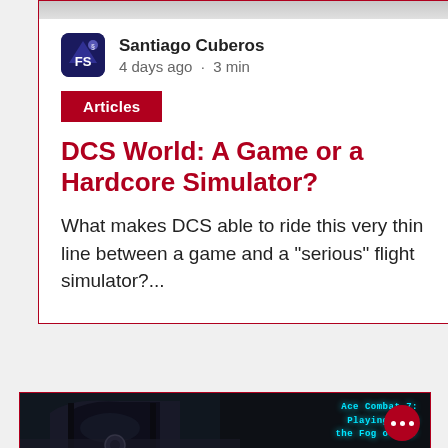[Figure (screenshot): Top portion of an article card showing a faint gray image strip at top]
Santiago Cuberos
4 days ago · 3 min
Articles
DCS World: A Game or a Hardcore Simulator?
What makes DCS able to ride this very thin line between a game and a "serious" flight simulator?...
[Figure (screenshot): Bottom card showing Ace Combat 7: Playing with the Fog of War game screenshot with dark cockpit image and teal text overlay, red menu button with three dots]